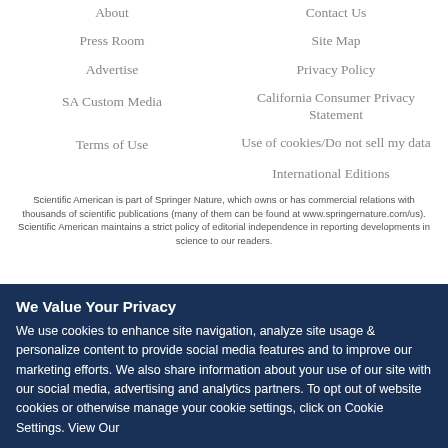About
Contact Us
Press Room
Site Map
Advertise
Privacy Policy
SA Custom Media
California Consumer Privacy Statement
Terms of Use
Use of cookies/Do not sell my data
International Editions
Scientific American is part of Springer Nature, which owns or has commercial relations with thousands of scientific publications (many of them can be found at www.springernature.com/us). Scientific American maintains a strict policy of editorial independence in reporting developments in science to our readers.
We Value Your Privacy
We use cookies to enhance site navigation, analyze site usage & personalize content to provide social media features and to improve our marketing efforts. We also share information about your use of our site with our social media, advertising and analytics partners. To opt out of website cookies or otherwise manage your cookie settings, click on Cookie Settings. View Our